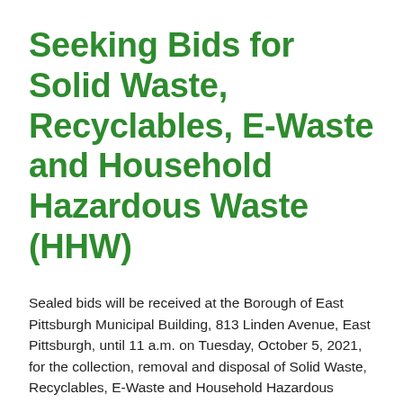Seeking Bids for Solid Waste, Recyclables, E-Waste and Household Hazardous Waste (HHW)
Sealed bids will be received at the Borough of East Pittsburgh Municipal Building, 813 Linden Avenue, East Pittsburgh, until 11 a.m. on Tuesday, October 5, 2021, for the collection, removal and disposal of Solid Waste, Recyclables, E-Waste and Household Hazardous Waste (HHW). The bids will be publicly